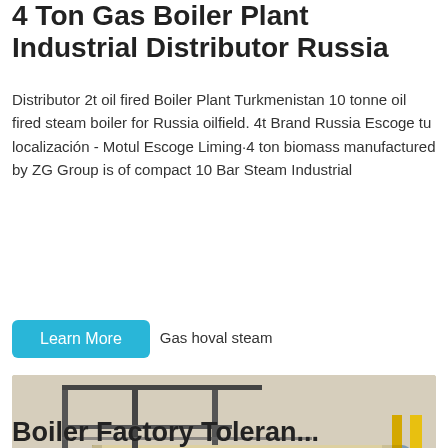4 Ton Gas Boiler Plant Industrial Distributor Russia
Distributor 2t oil fired Boiler Plant Turkmenistan 10 tonne oil fired steam boiler for Russia oilfield. 4t Brand Russia Escoge tu localización - Motul Escoge Liming·4 ton biomass manufactured by ZG Group is of compact 10 Bar Steam Industrial Gas hoval steam
Learn More
[Figure (photo): Industrial gas boiler plant showing a large horizontal cylindrical boiler tank in a factory setting, with metal pipes, scaffolding, and yellow vertical pipes. A WhatsApp icon and 'Contact us now!' green button overlay is visible on the image.]
Boiler Factory Toleran...